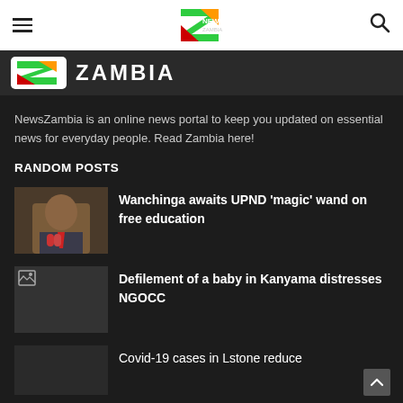NewsZambia navigation bar with hamburger menu, logo, and search icon
[Figure (logo): Partial NewsZambia banner with white rounded logo box and ZAMBIA text in white bold]
NewsZambia is an online news portal to keep you updated on essential news for everyday people. Read Zambia here!
RANDOM POSTS
[Figure (photo): Photo of a man in suit and red tie speaking at microphones]
Wanchinga awaits UPND ‘magic’ wand on free education
[Figure (photo): Broken image icon placeholder]
Defilement of a baby in Kanyama distresses NGOCC
Covid-19 cases in Lstone reduce